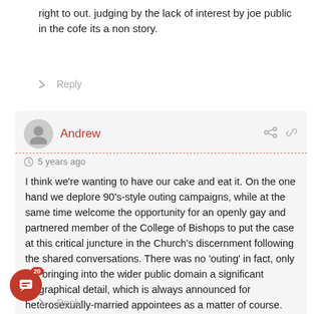right to out. judging by the lack of interest by joe public in the cofe its a non story.
Reply
Andrew
5 years ago
I think we're wanting to have our cake and eat it. On the one hand we deplore 90's-style outing campaigns, while at the same time welcome the opportunity for an openly gay and partnered member of the College of Bishops to put the case at this critical juncture in the Church's discernment following the shared conversations. There was no 'outing' in fact, only the bringing into the wider public domain a significant biographical detail, which is always announced for heterosexually-married appointees as a matter of course. This appointment was, in retrospect, a bold initiative, for which we must be grateful,… Read more »
Reply